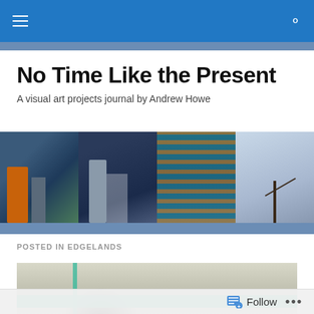Navigation bar with menu and search icons
No Time Like the Present
A visual art projects journal by Andrew Howe
[Figure (photo): Banner collage of four photographic panels: people in a station with orange coat, dark figures walking, teal and orange horizontal stripes on shutters, snow-covered winter tree branches]
POSTED IN EDGELANDS
[Figure (photo): Close-up photograph of graffiti on concrete — dark spray-paint marks on grey surface with teal/green painted stripes]
Follow ...